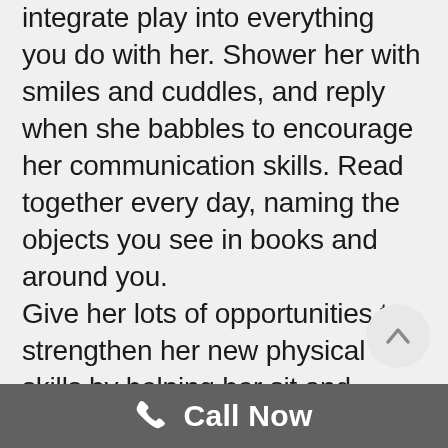integrate play into everything you do with her. Shower her with smiles and cuddles, and reply when she babbles to encourage her communication skills. Read together every day, naming the objects you see in books and around you. Give her lots of opportunities to strengthen her new physical skills by helping her sit and positioning her to play on both her stomach and back. Before she can crawl, be sure to childproof your home and keep her environment safe
Call Now